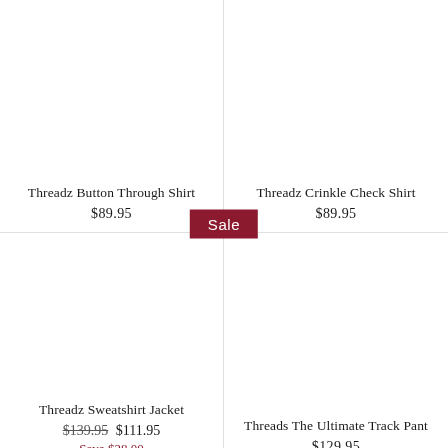Threadz Button Through Shirt
$89.95
Threadz Crinkle Check Shirt
$89.95
[Figure (other): Sale badge centered between the four product cells]
Threadz Sweatshirt Jacket
$139.95  $111.95  Save $28.00
Threads The Ultimate Track Pant
$129.95